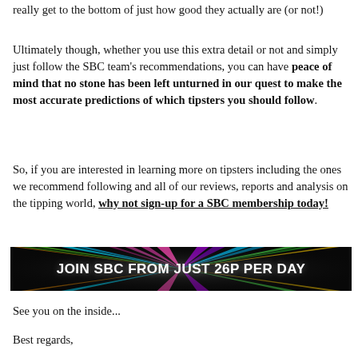really get to the bottom of just how good they actually are (or not!)
Ultimately though, whether you use this extra detail or not and simply just follow the SBC team's recommendations, you can have peace of mind that no stone has been left unturned in our quest to make the most accurate predictions of which tipsters you should follow.
So, if you are interested in learning more on tipsters including the ones we recommend following and all of our reviews, reports and analysis on the tipping world, why not sign-up for a SBC membership today!
[Figure (infographic): Dark banner with colorful light rays/beams radiating from center, white bold text reading JOIN SBC FROM JUST 26P PER DAY]
See you on the inside...
Best regards,